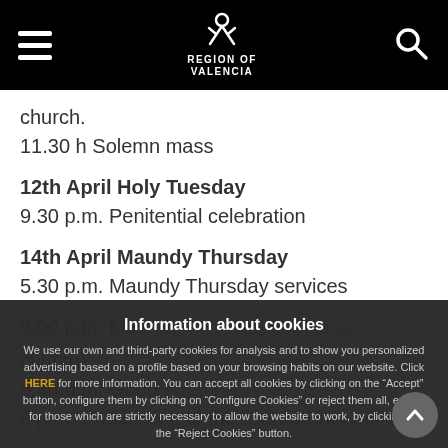Region of Valencia
church.
11.30 h Solemn mass
12th April Holy Tuesday
9.30 p.m. Penitential celebration
14th April Maundy Thursday
5.30 p.m. Maundy Thursday services
9.00 p.m. Ma[…]on
church)
5.30 p.m. Good […]
9 p.m. Procession of the "Santo Entierro" and
Information about cookies
We use our own and third-party cookies for analysis and to show you personalized advertising based on a profile based on your browsing habits on our website. Click HERE for more information. You can accept all cookies by clicking on the "Accept" button, configure them by clicking on "Configure Cookies" or reject them all, except for those which are strictly necessary to allow the website to work, by clicking on the "Reject Cookies" button.
Reject Cookies
Accept Cookies
Configure Cookies
More info